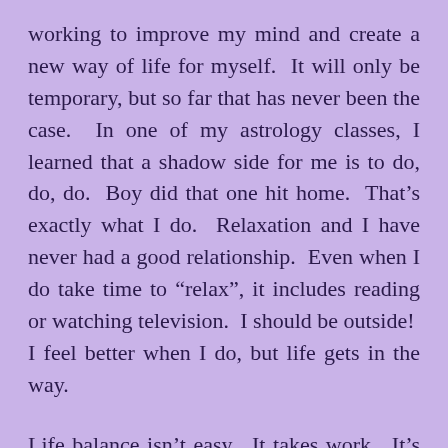working to improve my mind and create a new way of life for myself.  It will only be temporary, but so far that has never been the case.  In one of my astrology classes, I learned that a shadow side for me is to do, do, do.  Boy did that one hit home.  That's exactly what I do.  Relaxation and I have never had a good relationship.  Even when I do take time to “relax”, it includes reading or watching television.  I should be outside!  I feel better when I do, but life gets in the way.
Life balance isn’t easy.  It takes work.  It’s not what’s expected of you.  If you decide to not follow the “expected” path, you will probably